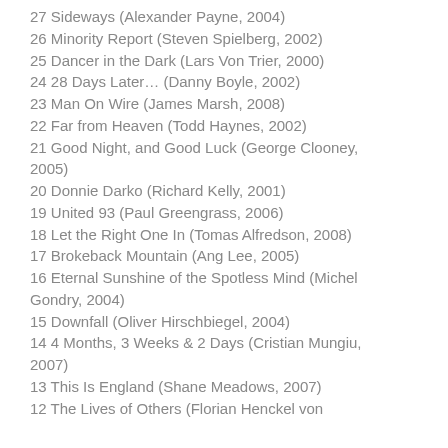27 Sideways (Alexander Payne, 2004)
26 Minority Report (Steven Spielberg, 2002)
25 Dancer in the Dark (Lars Von Trier, 2000)
24 28 Days Later… (Danny Boyle, 2002)
23 Man On Wire (James Marsh, 2008)
22 Far from Heaven (Todd Haynes, 2002)
21 Good Night, and Good Luck (George Clooney, 2005)
20 Donnie Darko (Richard Kelly, 2001)
19 United 93 (Paul Greengrass, 2006)
18 Let the Right One In (Tomas Alfredson, 2008)
17 Brokeback Mountain (Ang Lee, 2005)
16 Eternal Sunshine of the Spotless Mind (Michel Gondry, 2004)
15 Downfall (Oliver Hirschbiegel, 2004)
14 4 Months, 3 Weeks & 2 Days (Cristian Mungiu, 2007)
13 This Is England (Shane Meadows, 2007)
12 The Lives of Others (Florian Henckel von…